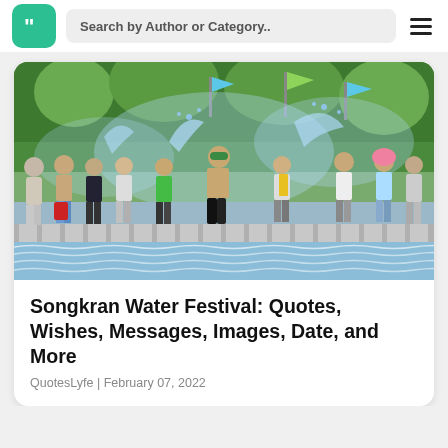Search by Author or Category..
[Figure (photo): Crowd of people playing with water at Songkran Water Festival, splashing water at each other near a weir or dam with water cascading over it, trees and flags in background]
Songkran Water Festival: Quotes, Wishes, Messages, Images, Date, and More
QuotesLyfe | February 07, 2022